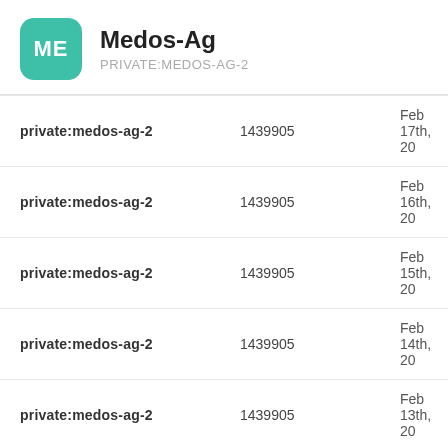Medos-Ag
PRIVATE:MEDOS-AG-2
|  |  |  |
| --- | --- | --- |
| private:medos-ag-2 | 1439905 | Feb 17th, 20 |
| private:medos-ag-2 | 1439905 | Feb 16th, 20 |
| private:medos-ag-2 | 1439905 | Feb 15th, 20 |
| private:medos-ag-2 | 1439905 | Feb 14th, 20 |
| private:medos-ag-2 | 1439905 | Feb 13th, 20 |
| private:medos-ag-2 | 1439905 | Feb 12th, 20 |
| private:medos-ag-2 | 1439905 | Feb 11th, 20 |
| private:medos-ag-2 | 1439905 | Feb 10th, 20 |
| private:medos-ag-2 | 1439905 | Feb 9th, 201 |